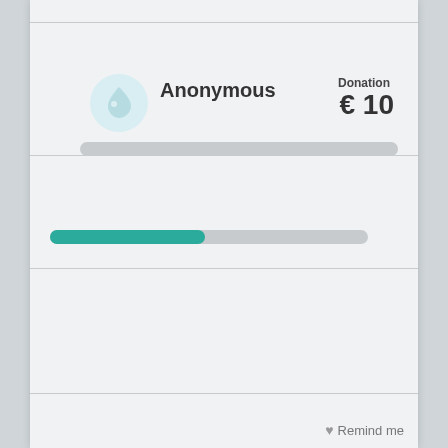Anonymous — Donation € 10
Anonymous MEMBER — Donation € 75
Anonymous — Donation € 10
Remind me